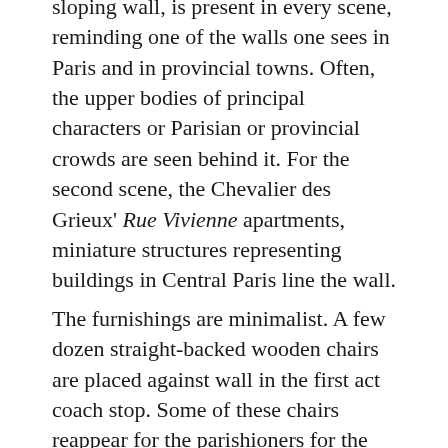sloping wall, is present in every scene, reminding one of the walls one sees in Paris and in provincial towns. Often, the upper bodies of principal characters or Parisian or provincial crowds are seen behind it. For the second scene, the Chevalier des Grieux' Rue Vivienne apartments, miniature structures representing buildings in Central Paris line the wall.
The furnishings are minimalist. A few dozen straight-backed wooden chairs are placed against wall in the first act coach stop. Some of these chairs reappear for the parishioners for the Saint-Sulpice service. The Royal Ballet is represented by a canopy (no performance of the ballet itself was included in this production). The gambling scene